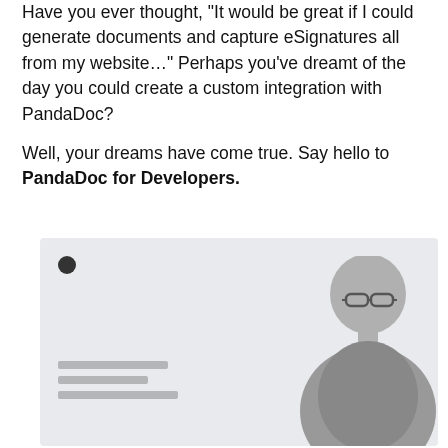Have you ever thought, "It would be great if I could generate documents and capture eSignatures all from my website..." Perhaps you've dreamt of the day you could create a custom integration with PandaDoc?

Well, your dreams have come true. Say hello to PandaDoc for Developers.
[Figure (screenshot): A screenshot or promotional image with a light gray background showing a person (man with glasses) on the right side and blurred text/logo elements on the left side, representing PandaDoc for Developers interface.]